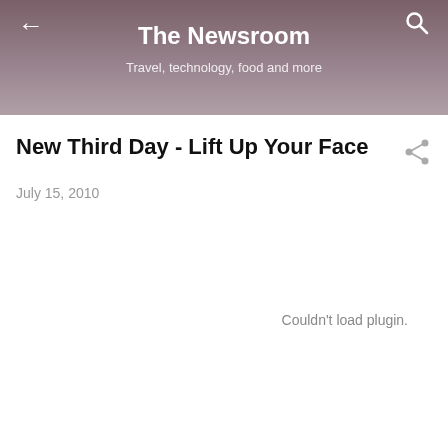The Newsroom
Travel, technology, food and more
New Third Day - Lift Up Your Face
July 15, 2010
Couldn't load plugin.